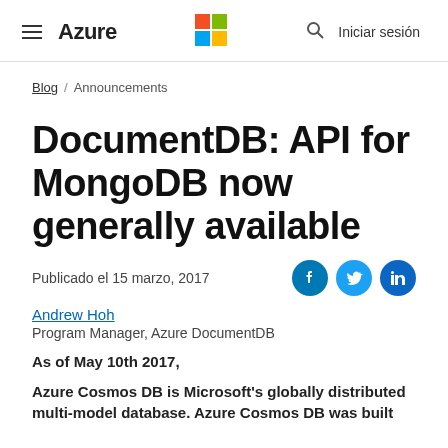Azure — Microsoft logo — Search — Iniciar sesión
Blog / Announcements
DocumentDB: API for MongoDB now generally available
Publicado el 15 marzo, 2017
Andrew Hoh
Program Manager, Azure DocumentDB
As of May 10th 2017,
Azure Cosmos DB is Microsoft's globally distributed multi-model database. Azure Cosmos DB was built